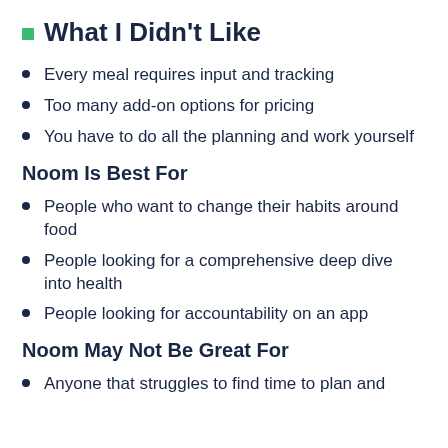What I Didn't Like
Every meal requires input and tracking
Too many add-on options for pricing
You have to do all the planning and work yourself
Noom Is Best For
People who want to change their habits around food
People looking for a comprehensive deep dive into health
People looking for accountability on an app
Noom May Not Be Great For
Anyone that struggles to find time to plan and